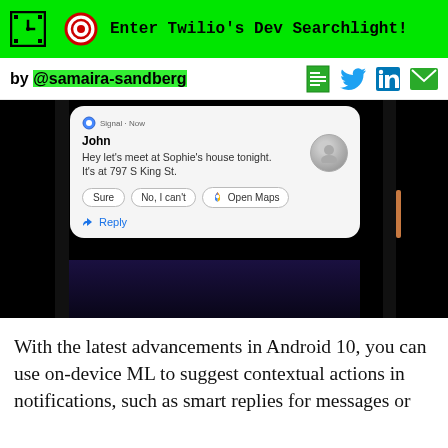Enter Twilio's Dev Searchlight!
by @samaira-sandberg
[Figure (screenshot): Screenshot of an Android 10 phone notification showing a message from John: 'Hey let's meet at Sophie's house tonight. It's at 797 S King St.' with action buttons: Sure, No I can't, Open Maps, and a Reply option.]
With the latest advancements in Android 10, you can use on-device ML to suggest contextual actions in notifications, such as smart replies for messages or